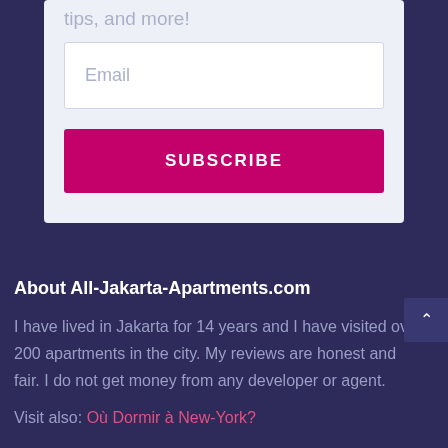tips, and more!
Email
SUBSCRIBE
About All-Jakarta-Apartments.com
I have lived in Jakarta for 14 years and I have visited over 200 apartments in the city. My reviews are honest and fair. I do not get money from any developer or agent.
Visit also: Où Dormir à New-York?
Contact